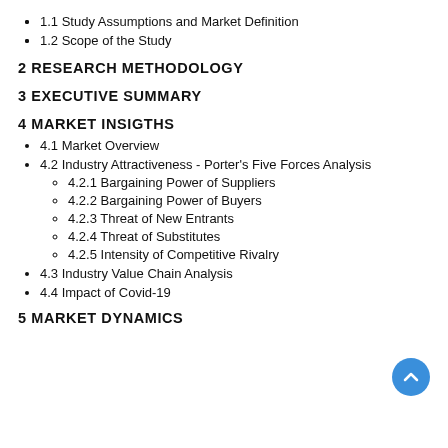1.1 Study Assumptions and Market Definition
1.2 Scope of the Study
2 RESEARCH METHODOLOGY
3 EXECUTIVE SUMMARY
4 MARKET INSIGTHS
4.1 Market Overview
4.2 Industry Attractiveness - Porter's Five Forces Analysis
4.2.1 Bargaining Power of Suppliers
4.2.2 Bargaining Power of Buyers
4.2.3 Threat of New Entrants
4.2.4 Threat of Substitutes
4.2.5 Intensity of Competitive Rivalry
4.3 Industry Value Chain Analysis
4.4 Impact of Covid-19
5 MARKET DYNAMICS